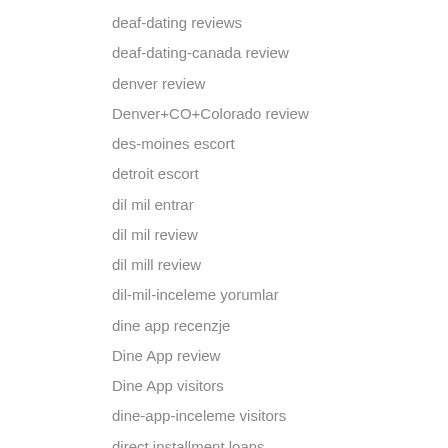deaf-dating reviews
deaf-dating-canada review
denver review
Denver+CO+Colorado review
des-moines escort
detroit escort
dil mil entrar
dil mil review
dil mill review
dil-mil-inceleme yorumlar
dine app recenzje
Dine App review
Dine App visitors
dine-app-inceleme visitors
direct installment loans